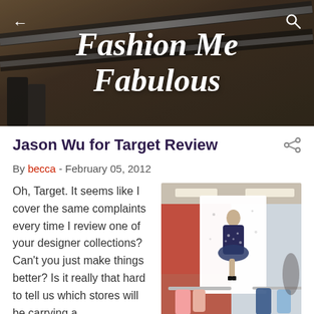[Figure (photo): Header banner photo of clothing rack/rail in a dark store setting with overlay, containing the blog title 'Fashion Me Fabulous' in white italic script, a back arrow on the left, and a search icon on the right.]
Jason Wu for Target Review
By becca - February 05, 2012
Oh, Target. It seems like I cover the same complaints every time I review one of your designer collections? Can't you just make things better? Is it really that hard to tell us which stores will be carrying a
[Figure (photo): Photo of the inside of a Target store showing Jason Wu for Target collection display — a large fashion poster of a model in a floral dress, and clothing racks with pink and blue garments.]